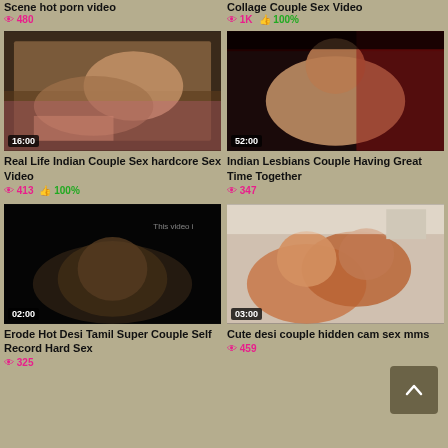Scene hot porn video — 480 views
Collage Couple Sex Video — 1K views, 100% likes
[Figure (photo): Thumbnail of Indian couple sex video, duration 16:00]
Real Life Indian Couple Sex hardcore Sex Video
413 views, 100% likes
[Figure (photo): Thumbnail of Indian lesbians couple video, duration 52:00]
Indian Lesbians Couple Having Great Time Together
347 views
[Figure (photo): Thumbnail of Erode Hot Desi Tamil video, duration 02:00]
Erode Hot Desi Tamil Super Couple Self Record Hard Sex
325 views
[Figure (photo): Thumbnail of cute desi couple hidden cam video, duration 03:00]
Cute desi couple hidden cam sex mms
459 views